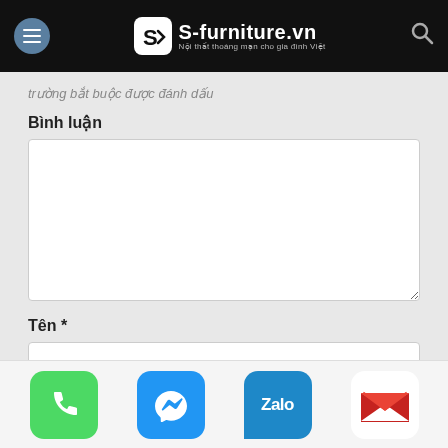S-furniture.vn — Nội thất thoáng mạn cho gia đình Việt
trường bắt buộc được đánh dấu
Bình luận
[Bình luận textarea]
Tên *
[Tên input]
Email *
[Figure (infographic): Bottom app bar with four app icons: Phone (green), Messenger (blue), Zalo (blue), Gmail (red/white)]